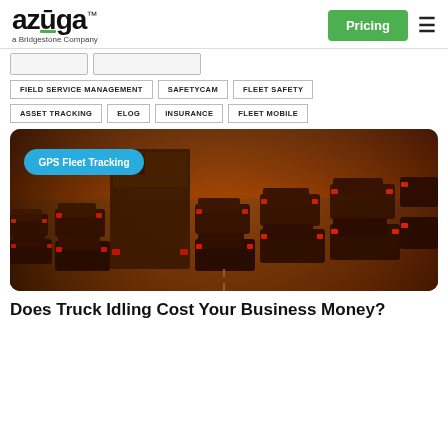azuga™ a Bridgestone Company | Pricing
FIELD SERVICE MANAGEMENT
SAFETYCAM
FLEET SAFETY
ASSET TRACKING
ELOG
INSURANCE
FLEET MOBILE
[Figure (photo): Dense traffic on a road at sunset/golden hour with many vehicles including trucks and cars. A teal badge reads 'GPS Fleet Tracking'.]
Does Truck Idling Cost Your Business Money?